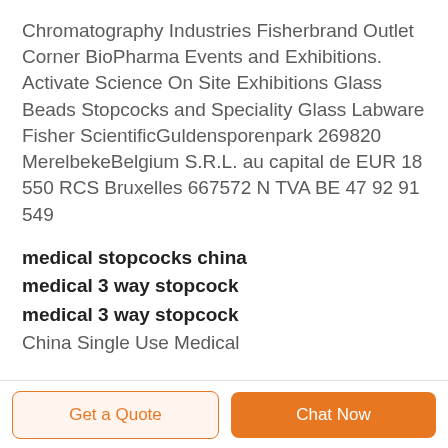Chromatography Industries Fisherbrand Outlet Corner BioPharma Events and Exhibitions. Activate Science On Site Exhibitions Glass Beads Stopcocks and Speciality Glass Labware Fisher ScientificGuldensporenpark 269820 MerelbekeBelgium S.R.L. au capital de EUR 18 550 RCS Bruxelles 667572 N TVA BE 47 92 91 549
medical stopcocks china
medical 3 way stopcock
medical 3 way stopcock
China Single Use Medical
Get a Quote   Chat Now